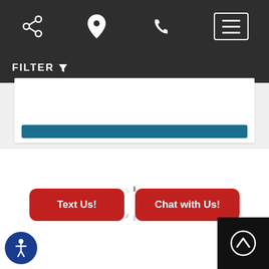[Figure (screenshot): Mobile website navigation bar with dark background showing share, location, phone icons and hamburger menu button]
FILTER
[Figure (screenshot): Loading spinner (circular spinner animation) in the center of white content area]
[Figure (screenshot): Two red rounded buttons: 'Text Us!' and 'Chat with Us!']
[Figure (screenshot): Accessibility icon button (blue circle with person icon) at bottom left, and scroll-to-top button (black square with up arrow) at bottom right]